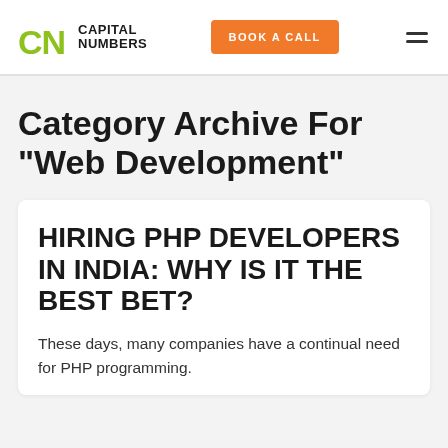Capital Numbers — BOOK A CALL navigation header
Category Archive For "Web Development"
HIRING PHP DEVELOPERS IN INDIA: WHY IS IT THE BEST BET?
These days, many companies have a continual need for PHP programming.